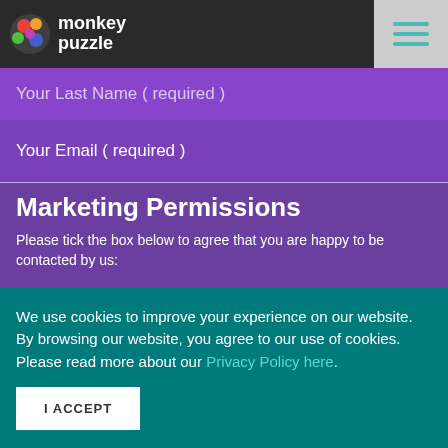monkey puzzle
Your Last Name ( required )
Your Email ( required )
Marketing Permissions
Please tick the box below to agree that you are happy to be contacted by us:
Yes, I want to receive your newsletters
You can unsubscribe any time by clicking the link on our newsletters or by contacting us at info@monkeypuzzletraining.co.uk. For more information about our privacy practices click here. By clicking 'Sign Me Up', you ac... pr...
We use cookies to improve your experience on our website. By browsing our website, you agree to our use of cookies.
Please read more about our Privacy Policy here.
I ACCEPT